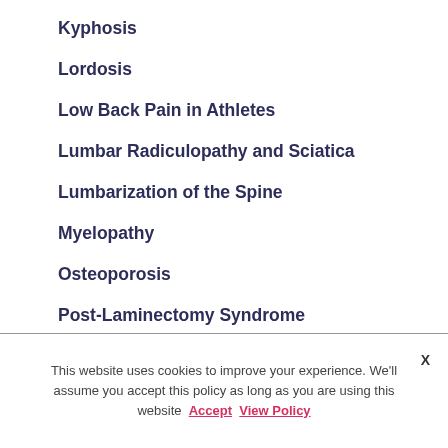Kyphosis
Lordosis
Low Back Pain in Athletes
Lumbar Radiculopathy and Sciatica
Lumbarization of the Spine
Myelopathy
Osteoporosis
Post-Laminectomy Syndrome
Radiculopathy
This website uses cookies to improve your experience. We'll assume you accept this policy as long as you are using this website  Accept  View Policy